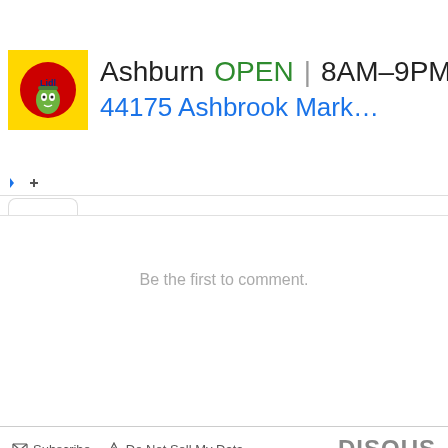[Figure (screenshot): Lidl grocery store advertisement banner showing location in Ashburn, OPEN status, hours 8AM-9PM, and address 44175 Ashbrook Marketplac... with navigation arrow icon]
Be the first to comment.
Subscribe  Do Not Sell My Data  DISQUS